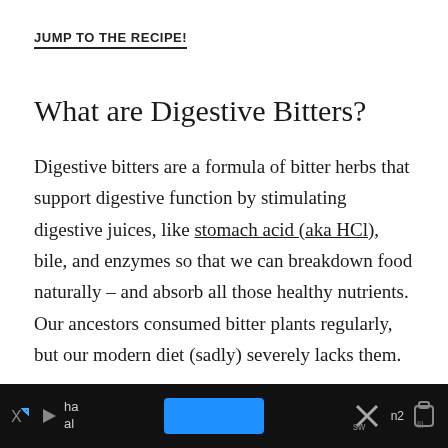JUMP TO THE RECIPE!
What are Digestive Bitters?
Digestive bitters are a formula of bitter herbs that support digestive function by stimulating digestive juices, like stomach acid (aka HCl), bile, and enzymes so that we can breakdown food naturally – and absorb all those healthy nutrients. Our ancestors consumed bitter plants regularly, but our modern diet (sadly) severely lacks them.
With the rise of industrial agriculture, our culture
[Figure (other): Advertisement banner at bottom of page with dark background, blue button, icons and partial text]